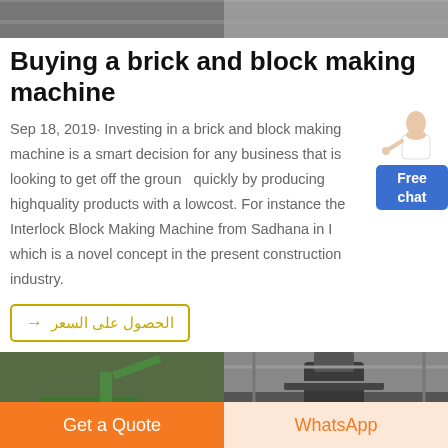[Figure (photo): Top banner image showing industrial/construction scene]
Buying a brick and block making machine
Sep 18, 2019· Investing in a brick and block making machine is a smart decision for any business that is looking to get off the ground quickly by producing highquality products with a lowcost. For instance the Interlock Block Making Machine from Sadhana in India which is a novel concept in the present construction industry.
[Figure (illustration): Free chat widget with agent figure and blue Free chat button]
→ الحصول على السعر
[Figure (photo): Two construction/industrial machine photos side by side - left: green excavator/crusher on rubble, right: industrial machine inside warehouse]
Get a Quote
WhatsApp